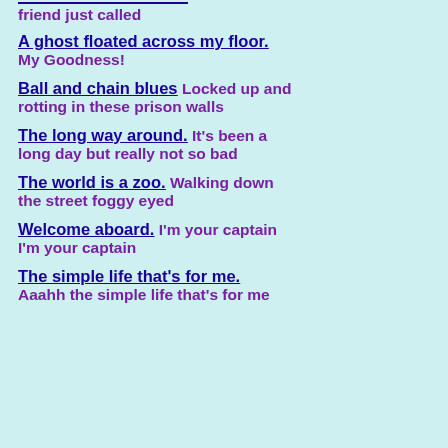friend just called
A ghost floated across my floor. My Goodness!
Ball and chain blues Locked up and rotting in these prison walls
The long way around. It's been a long day but really not so bad
The world is a zoo. Walking down the street foggy eyed
Welcome aboard. I'm your captain I'm your captain
The simple life that's for me. Aaahh the simple life that's for me